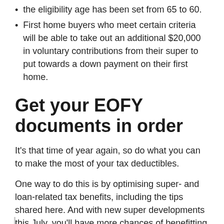the eligibility age has been set from 65 to 60.
First home buyers who meet certain criteria will be able to take out an additional $20,000 in voluntary contributions from their super to put towards a down payment on their first home.
Get your EOFY documents in order
It's that time of year again, so do what you can to make the most of your tax deductibles.
One way to do this is by optimising super- and loan-related tax benefits, including the tips shared here. And with new super developments this July, you'll have more chances of benefitting from your super savings soon.